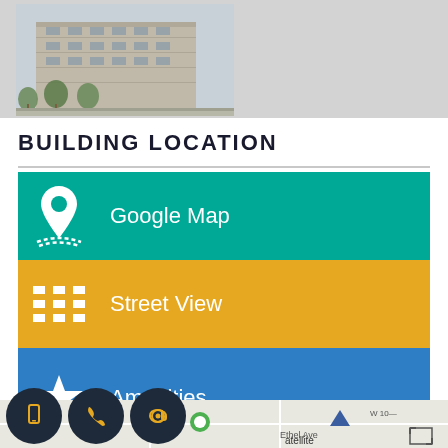[Figure (photo): Exterior rendering of a modern multi-storey apartment or commercial building with trees in front, shown in upper left portion of a light grey background panel]
BUILDING LOCATION
[Figure (infographic): Three colored button rows: green 'Google Map' button with pin icon, amber/orange 'Street View' button with street grid icon, blue 'Amenities' button with star icon]
[Figure (map): Partial Google Maps view showing street map with labels including 'Ethel Ave' and 'W 10-' visible, with satellite toggle and map controls]
[Figure (infographic): Three circular dark navy contact icon buttons at bottom left: phone/mobile icon, call/phone icon, and @ email icon]